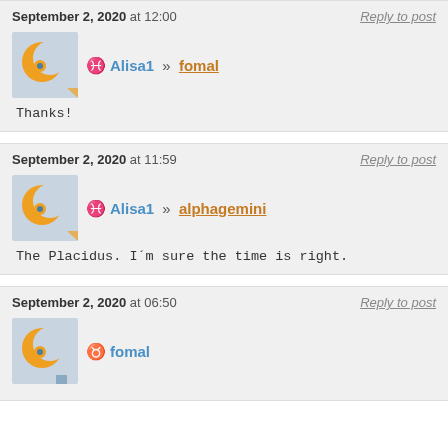September 2, 2020 at 12:00
Reply to post
♓ Alisa1 » fomal
Thanks!
September 2, 2020 at 11:59
Reply to post
♓ Alisa1 » alphagemini
The Placidus. I´m sure the time is right.
September 2, 2020 at 06:50
Reply to post
♉ fomal